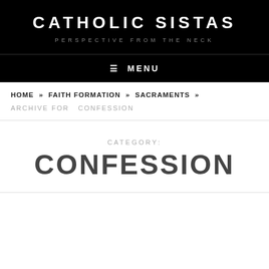CATHOLIC SISTAS
PERSPECTIVE FROM THE NECK
≡ MENU
HOME » FAITH FORMATION » SACRAMENTS »
ARCHIVE FOR  CONFESSION
CATEGORY: CONFESSION